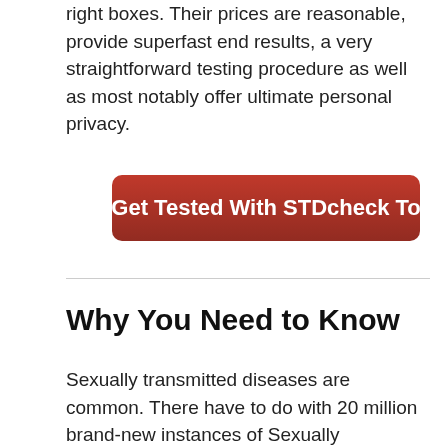right boxes. Their prices are reasonable, provide superfast end results, a very straightforward testing procedure as well as most notably offer ultimate personal privacy.
[Figure (other): Red rounded button with share icon and text: Get Tested With STDcheck Today]
Why You Need to Know
Sexually transmitted diseases are common. There have to do with 20 million brand-new instances of Sexually transmitted diseases in the USA every year. More than half of adults will